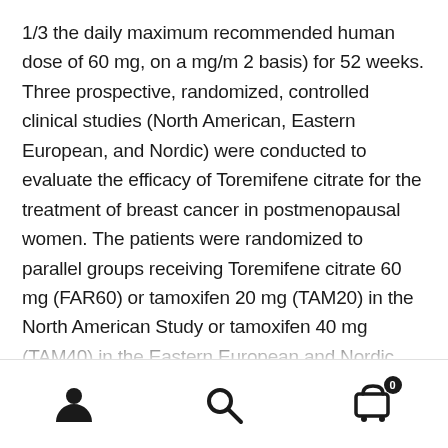1/3 the daily maximum recommended human dose of 60 mg, on a mg/m 2 basis) for 52 weeks. Three prospective, randomized, controlled clinical studies (North American, Eastern European, and Nordic) were conducted to evaluate the efficacy of Toremifene citrate for the treatment of breast cancer in postmenopausal women. The patients were randomized to parallel groups receiving Toremifene citrate 60 mg (FAR60) or tamoxifen 20 mg (TAM20) in the North American Study or tamoxifen 40 mg (TAM40) in the Eastern European and Nordic studies. The North American and Eastern European studies also included high-dose Toremifene arms of 200 and 240 mg daily, respectively. The studies included postmenopausal patients with estrogen-receptor (ER) positive or estrogen-receptor (ER) unknown metastatic breast cancer. The patients had at least one
[person icon] [search icon] [cart icon with badge 0]